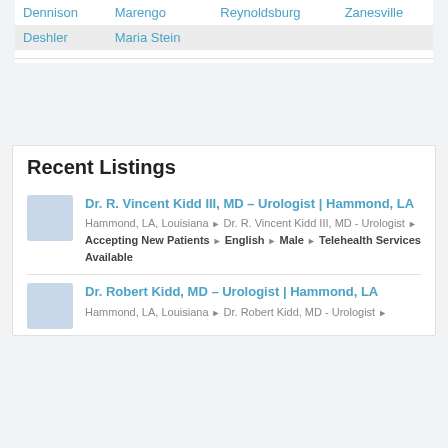|  |  |  |  |
| --- | --- | --- | --- |
| Dennison | Marengo | Reynoldsburg | Zanesville |
| Deshler | Maria Stein |  |  |
Recent Listings
Dr. R. Vincent Kidd III, MD – Urologist | Hammond, LA
Hammond, LA, Louisiana ▸ Dr. R. Vincent Kidd III, MD - Urologist ▸ Accepting New Patients ▸ English ▸ Male ▸ Telehealth Services Available
Dr. Robert Kidd, MD – Urologist | Hammond, LA
Hammond, LA, Louisiana ▸ Dr. Robert Kidd, MD - Urologist ▸